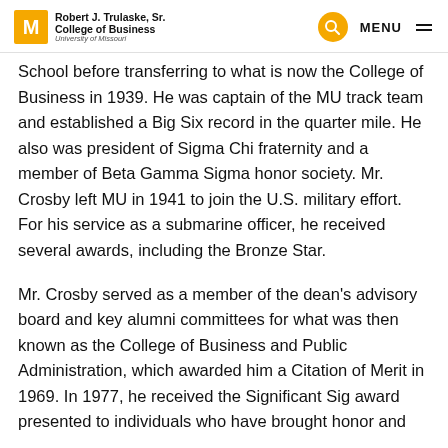Robert J. Trulaske, Sr. College of Business — University of Missouri
School before transferring to what is now the College of Business in 1939. He was captain of the MU track team and established a Big Six record in the quarter mile. He also was president of Sigma Chi fraternity and a member of Beta Gamma Sigma honor society. Mr. Crosby left MU in 1941 to join the U.S. military effort. For his service as a submarine officer, he received several awards, including the Bronze Star.
Mr. Crosby served as a member of the dean's advisory board and key alumni committees for what was then known as the College of Business and Public Administration, which awarded him a Citation of Merit in 1969. In 1977, he received the Significant Sig award presented to individuals who have brought honor and